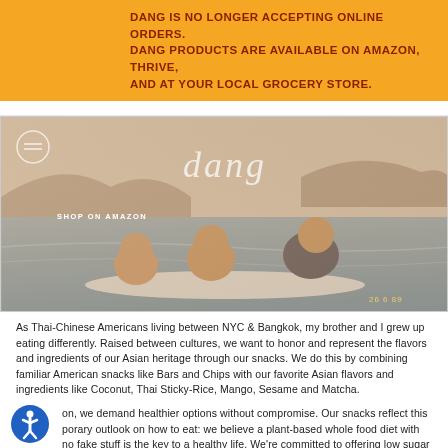DANG IS NO LONGER ACCEPTING ONLINE ORDERS. DANG PRODUCTS ARE AVAILABLE ON AMAZON, THRIVE, AND AT YOUR LOCAL GROCERY STORE.
[Figure (photo): Vintage beach photo dated 26 6 89 showing a woman and two children on a surfboard in water, with mountains in background. Overlaid with 'dang' logo text and 'SHOP ON AMAZON' label.]
As Thai-Chinese Americans living between NYC & Bangkok, my brother and I grew up eating differently. Raised between cultures, we want to honor and represent the flavors and ingredients of our Asian heritage through our snacks. We do this by combining familiar American snacks like Bars and Chips with our favorite Asian flavors and ingredients like Coconut, Thai Sticky-Rice, Mango, Sesame and Matcha.
on, we demand healthier options without compromise. Our snacks reflect this porary outlook on how to eat: we believe a plant-based whole food diet with no fake stuff is the key to a healthy life. We're committed to offering low sugar snacking